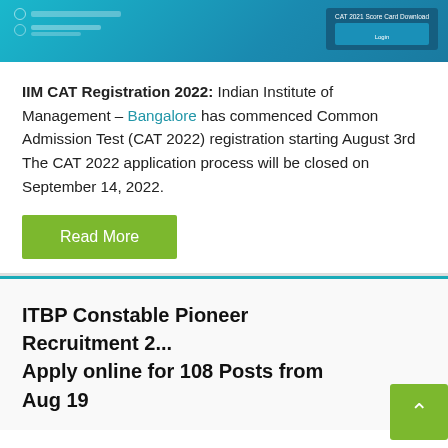[Figure (screenshot): Top portion of a teal/blue website header with calendar/date information and a score card download button area visible]
IIM CAT Registration 2022: Indian Institute of Management – Bangalore has commenced Common Admission Test (CAT 2022) registration starting August 3rd The CAT 2022 application process will be closed on September 14, 2022.
Read More
ITBP Constable Pioneer Recruitment 2... Apply online for 108 Posts from Aug 19